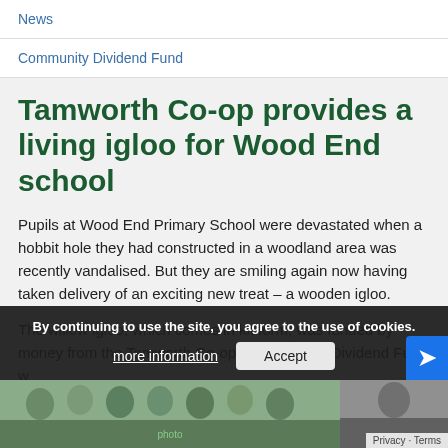News
Community Dividend Fund
Tamworth Co-op provides a living igloo for Wood End school
Pupils at Wood End Primary School were devastated when a hobbit hole they had constructed in a woodland area was recently vandalised. But they are smiling again now having taken delivery of an exciting new treat – a wooden igloo.
The willow igloo, which comes in kit form, was funded by money from the Tamworth Co-op's Community Dividend Fund w...
[Figure (photo): Photo of school pupils at Wood End school, partially visible at bottom of page]
By continuing to use the site, you agree to the use of cookies. more information  Accept
Privacy · Terms